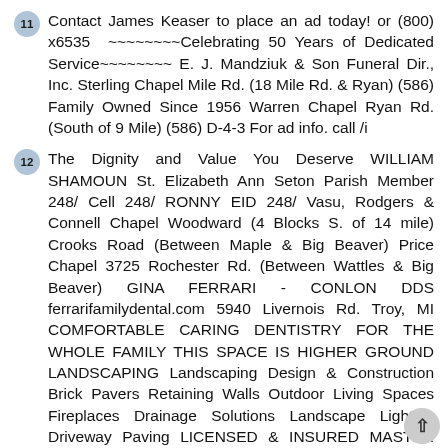11 Contact James Keaser to place an ad today! or (800) x6535 ~~~~~~~~Celebrating 50 Years of Dedicated Service~~~~~~~~ E. J. Mandziuk & Son Funeral Dir., Inc. Sterling Chapel Mile Rd. (18 Mile Rd. & Ryan) (586) Family Owned Since 1956 Warren Chapel Ryan Rd. (South of 9 Mile) (586) D-4-3 For ad info. call /i
12 The Dignity and Value You Deserve WILLIAM SHAMOUN St. Elizabeth Ann Seton Parish Member 248/ Cell 248/ RONNY EID 248/ Vasu, Rodgers & Connell Chapel Woodward (4 Blocks S. of 14 mile) Crooks Road (Between Maple & Big Beaver) Price Chapel 3725 Rochester Rd. (Between Wattles & Big Beaver) GINA FERRARI - CONLON DDS ferrarifamilydental.com 5940 Livernois Rd. Troy, MI COMFORTABLE CARING DENTISTRY FOR THE WHOLE FAMILY THIS SPACE IS HIGHER GROUND LANDSCAPING Landscaping Design & Construction Brick Pavers Retaining Walls Outdoor Living Spaces Fireplaces Drainage Solutions Landscape Lighting Driveway Paving LICENSED & INSURED MASTER PLUMBER Senior Discounts 24 Hr. Emergency Service WaterWorkPlumbing.com $20 OFF ANY SERVICE (248) $20.00 OFF any plumbing work We'll Personally Answer Your Call 24/ Follow Us On Facebook